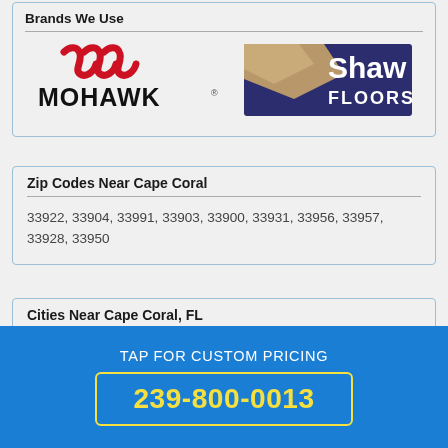Brands We Use
[Figure (logo): Mohawk flooring brand logo with red wave mark and black MOHAWK text]
[Figure (logo): Shaw Floors brand logo with dark blue background, tan/gold shape, and white Shaw FLOORS text]
Zip Codes Near Cape Coral
33922, 33904, 33991, 33903, 33900, 33931, 33956, 33957, 33928, 33950
Cities Near Cape Coral, FL
TAP FOR CUSTOM PRICING
239-800-0013